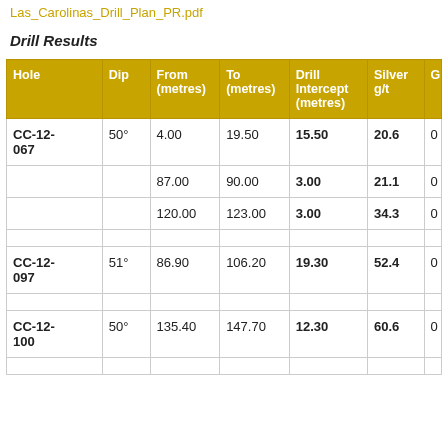Las_Carolinas_Drill_Plan_PR.pdf
Drill Results
| Hole | Dip | From (metres) | To (metres) | Drill Intercept (metres) | Silver g/t | G |
| --- | --- | --- | --- | --- | --- | --- |
| CC-12-067 | 50° | 4.00 | 19.50 | 15.50 | 20.6 | 0 |
|  |  | 87.00 | 90.00 | 3.00 | 21.1 | 0 |
|  |  | 120.00 | 123.00 | 3.00 | 34.3 | 0 |
| CC-12-097 | 51° | 86.90 | 106.20 | 19.30 | 52.4 | 0 |
| CC-12-100 | 50° | 135.40 | 147.70 | 12.30 | 60.6 | 0 |